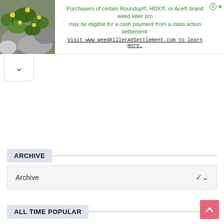[Figure (screenshot): Advertisement banner for weed killer class action settlement. Left side shows photo of green plant with yellow flowers. Right side shows text: 'Purchasers of certain Roundup®, HDX®, or Ace® brand weed killer products may be eligible for a cash payment from a class action settlement. Visit www.WeedKillerAdSettlement.com to learn more.']
ARCHIVE
Archive
ALL TIME POPULAR